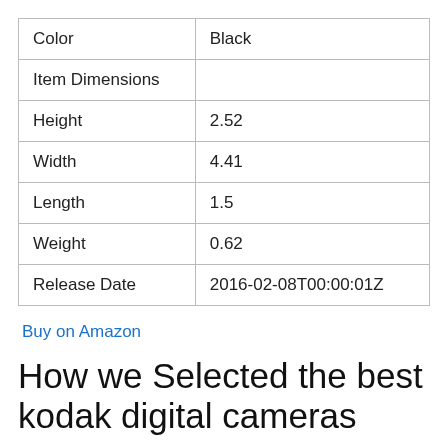| Color | Black |
| Item Dimensions |  |
| Height | 2.52 |
| Width | 4.41 |
| Length | 1.5 |
| Weight | 0.62 |
| Release Date | 2016-02-08T00:00:01Z |
Buy on Amazon
How we Selected the best kodak digital cameras